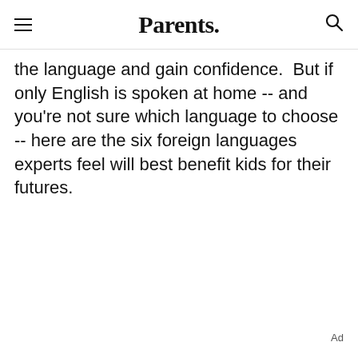Parents.
the language and gain confidence.  But if only English is spoken at home -- and you're not sure which language to choose -- here are the six foreign languages experts feel will best benefit kids for their futures.
Ad